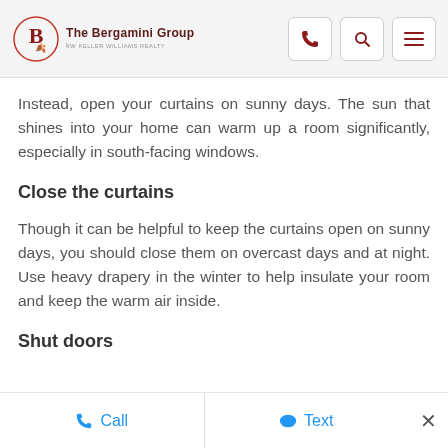The Bergamini Group kw
Instead, open your curtains on sunny days. The sun that shines into your home can warm up a room significantly, especially in south-facing windows.
Close the curtains
Though it can be helpful to keep the curtains open on sunny days, you should close them on overcast days and at night. Use heavy drapery in the winter to help insulate your room and keep the warm air inside.
Shut doors
Call   Text